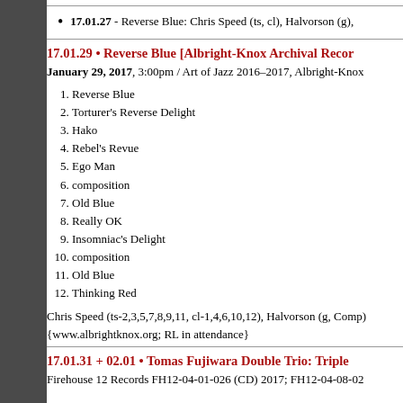17.01.27 - Reverse Blue: Chris Speed (ts, cl), Halvorson (g),
17.01.29 • Reverse Blue [Albright-Knox Archival Recor
January 29, 2017, 3:00pm / Art of Jazz 2016–2017, Albright-Knox
1. Reverse Blue
2. Torturer's Reverse Delight
3. Hako
4. Rebel's Revue
5. Ego Man
6. composition
7. Old Blue
8. Really OK
9. Insomniac's Delight
10. composition
11. Old Blue
12. Thinking Red
Chris Speed (ts-2,3,5,7,8,9,11, cl-1,4,6,10,12), Halvorson (g, Comp)
{www.albrightknox.org; RL in attendance}
17.01.31 + 02.01 • Tomas Fujiwara Double Trio: Triple
Firehouse 12 Records FH12-04-01-026 (CD) 2017; FH12-04-08-02